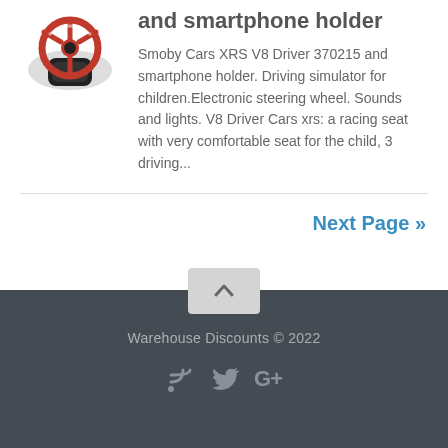and smartphone holder
Smoby Cars XRS V8 Driver 370215 and smartphone holder. Driving simulator for children.Electronic steering wheel. Sounds and lights. V8 Driver Cars xrs: a racing seat with very comfortable seat for the child, 3 driving...
Next Page »
Warehouse Discounts © 2022